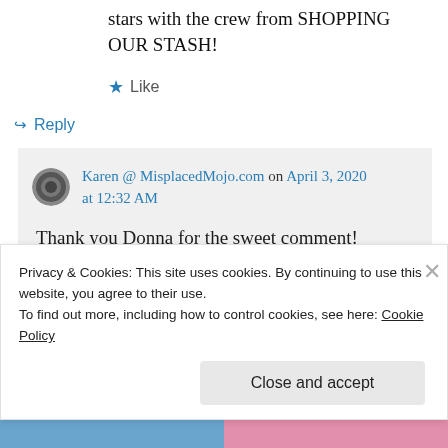stars with the crew from SHOPPING OUR STASH!
Like
Reply
Karen @ MisplacedMojo.com on April 3, 2020 at 12:32 AM
Thank you Donna for the sweet comment! Yes, a very scary time… especially if you
Privacy & Cookies: This site uses cookies. By continuing to use this website, you agree to their use. To find out more, including how to control cookies, see here: Cookie Policy
Close and accept